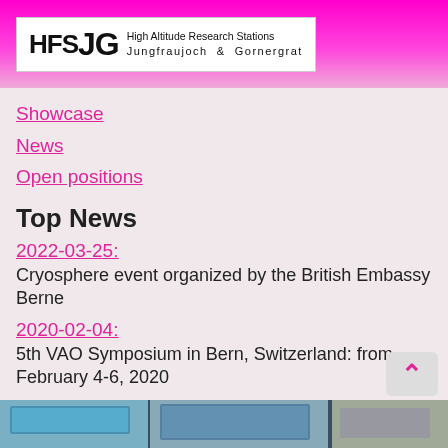HFSJG High Altitude Research Stations Jungfraujoch & Gornergrat
Showcase
News
Open positions
Top News
2022-03-25:
Cryosphere event organized by the British Embassy Berne
2020-02-04:
5th VAO Symposium in Bern, Switzerland: from February 4-6, 2020
2020-01-07:
Peking University is a new member of HFSJG
Picture of the Month
[Figure (photo): Partial view of a research station building exterior, showing windows and roof structure.]